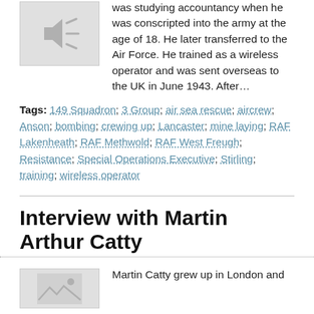[Figure (other): Speaker/audio placeholder icon with sound waves, grey background]
was studying accountancy when he was conscripted into the army at the age of 18. He later transferred to the Air Force. He trained as a wireless operator and was sent overseas to the UK in June 1943. After…
Tags: 149 Squadron; 3 Group; air sea rescue; aircrew; Anson; bombing; crewing up; Lancaster; mine laying; RAF Lakenheath; RAF Methwold; RAF West Freugh; Resistance; Special Operations Executive; Stirling; training; wireless operator
Interview with Martin Arthur Catty
[Figure (other): Photo placeholder icon, grey background]
Martin Catty grew up in London and